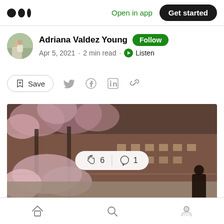Medium logo | Open in app | Get started
Adriana Valdez Young · Follow
Apr 5, 2021 · 2 min read · Listen
Save (share icons: Twitter, Facebook, LinkedIn, Link)
[Figure (photo): Street scene with cherry blossom trees in front of brownstone buildings in New York City]
👏 6  |  💬 1
Home | Search | Profile navigation icons